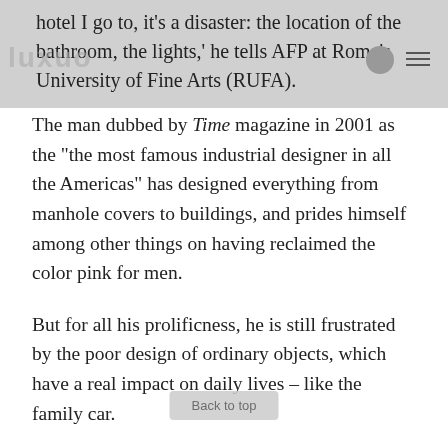hotel I go to, it's a disaster: the location of the bathroom, the lights,' he tells AFP at Rome's University of Fine Arts (RUFA).
The man dubbed by Time magazine in 2001 as the "the most famous industrial designer in all the Americas" has designed everything from manhole covers to buildings, and prides himself among other things on having reclaimed the color pink for men.
But for all his prolificness, he is still frustrated by the poor design of ordinary objects, which have a real impact on daily lives – like the family car.
“It is such a simple, simple thing. Like getting out of a car. In 1967 Citroen makes a car where the seat rotated: you get in, you rotate, right? It’s so comfortable.”
But not so today. “I mean my mother, who is 85, she can’t get in or out of a car.”
Rashid, sporting pink jeans, a pink jumper and florescent pink